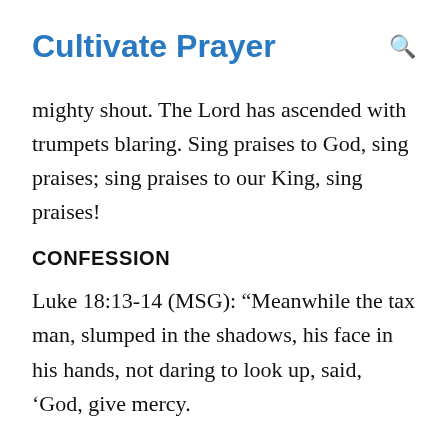Cultivate Prayer
mighty shout. The Lord has ascended with trumpets blaring. Sing praises to God, sing praises; sing praises to our King, sing praises!
CONFESSION
Luke 18:13-14 (MSG): “Meanwhile the tax man, slumped in the shadows, his face in his hands, not daring to look up, said, ‘God, give mercy.